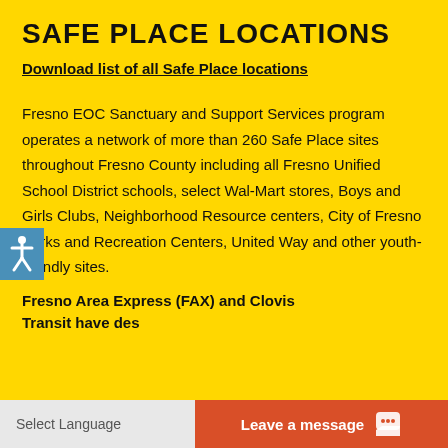SAFE PLACE LOCATIONS
Download list of all Safe Place locations
Fresno EOC Sanctuary and Support Services program operates a network of more than 260 Safe Place sites throughout Fresno County including all Fresno Unified School District schools, select Wal-Mart stores, Boys and Girls Clubs, Neighborhood Resource centers, City of Fresno Parks and Recreation Centers, United Way and other youth-friendly sites.
Fresno Area Express (FAX) and Clovis Transit have des…